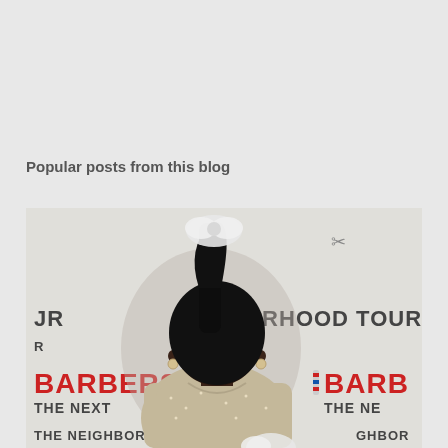Popular posts from this blog
[Figure (photo): A woman with a high ponytail and white hair accessory posing in front of a step-and-repeat banner reading 'BARBERS THE NEXT' and 'NEIGHBORHOOD TOUR'. She is wearing a sparkly beige/cream sweater.]